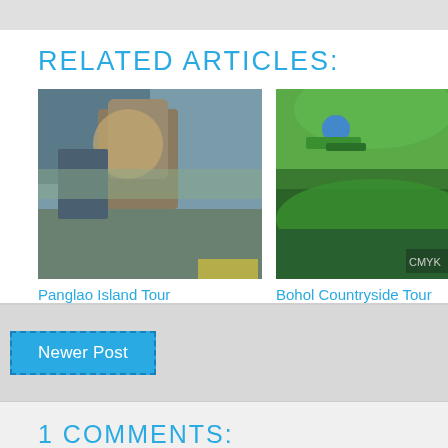RELATED ARTICLES:
[Figure (photo): Photo of a church/historic building with ornate architecture]
Panglao Island Tour
[Figure (photo): Photo of a person zip-lining over green hills and a lake]
Bohol Countryside Tour
[Figure (photo): Partially visible colorful photo, likely a car rental or activity image]
Car R
Newer Post
1 COMMENTS: